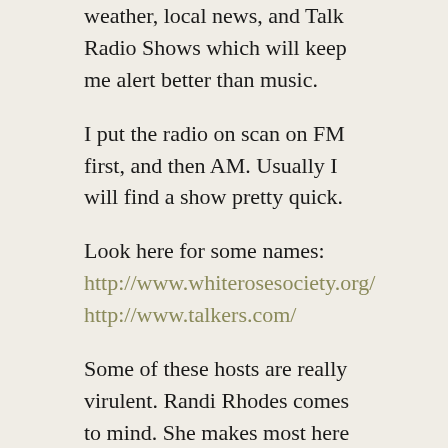weather, local news, and Talk Radio Shows which will keep me alert better than music.
I put the radio on scan on FM first, and then AM. Usually I will find a show pretty quick.
Look here for some names:
http://www.whiterosesociety.org/
http://www.talkers.com/
Some of these hosts are really virulent. Randi Rhodes comes to mind. She makes most here seem very, very tame. She could put the spurs to the freepatriot, but he would be delighted probably.
These shows arenâ€™t necessarily on dedicated radio stations, but come on